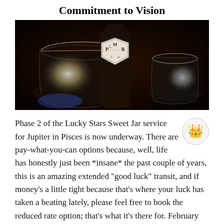Commitment to Vision
[Figure (photo): Dark photo showing glass jars/vessels on a table, with a bottle bearing a shield logo with letters P, M, B, L and a decorative border, illuminated with bright light reflections.]
Phase 2 of the Lucky Stars Sweet Jar service for Jupiter in Pisces is now underway. There are pay-what-you-can options because, well, life has honestly just been *insane* the past couple of years, this is an amazing extended “good luck” transit, and if money’s a little tight because that’s where your luck has taken a beating lately, please feel free to book the reduced rate option; that’s what it’s there for.     February honey jars for prosperity/success and love/relationships are tonight. There are pay-what-you-can options for the prosperity/success jar, too.     Participants are invited to a